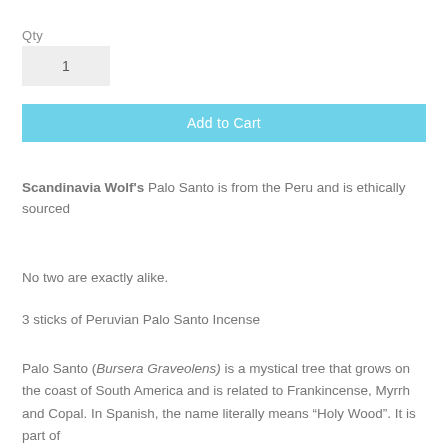Qty
1
Add to Cart
Scandinavia Wolf's Palo Santo is from the Peru and is ethically sourced
No two are exactly alike.
3 sticks of Peruvian Palo Santo Incense
Palo Santo (Bursera Graveolens) is a mystical tree that grows on the coast of South America and is related to Frankincense, Myrrh and Copal. In Spanish, the name literally means “Holy Wood”. It is part of